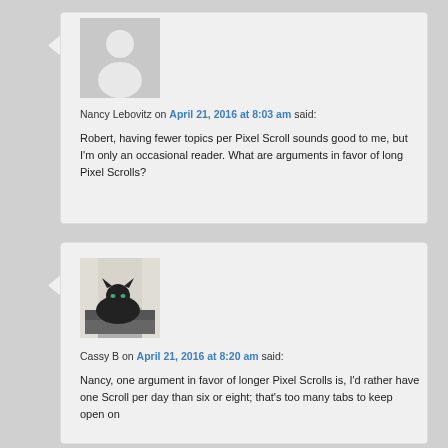[Figure (illustration): Generic user avatar placeholder: grey square with white silhouette figure]
Nancy Lebovitz on April 21, 2016 at 8:03 am said:
Robert, having fewer topics per Pixel Scroll sounds good to me, but I'm only an occasional reader. What are arguments in favor of long Pixel Scrolls?
[Figure (photo): Photo of a black cat sitting on a laptop or dark surface]
Cassy B on April 21, 2016 at 8:20 am said:
Nancy, one argument in favor of longer Pixel Scrolls is, I'd rather have one Scroll per day than six or eight; that's too many tabs to keep open on